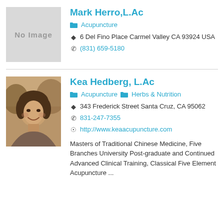Mark Herro,L.Ac
Acupuncture
6 Del Fino Place Carmel Valley CA 93924 USA
(831) 659-5180
Kea Hedberg, L.Ac
Acupuncture  Herbs & Nutrition
343 Frederick Street Santa Cruz, CA 95062
831-247-7355
http://www.keaacupuncture.com
Masters of Traditional Chinese Medicine, Five Branches University Post-graduate and Continued Advanced Clinical Training, Classical Five Element Acupuncture ...